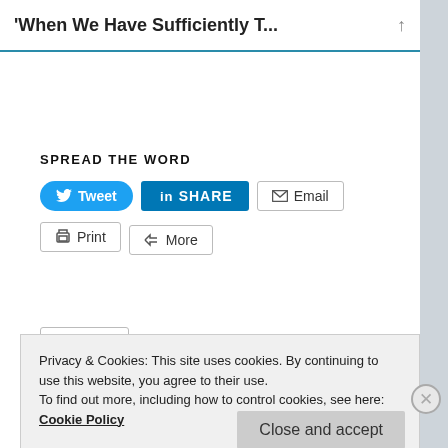'When We Have Sufficiently T...
SPREAD THE WORD
[Figure (screenshot): Social sharing buttons: Tweet (Twitter/blue), SHARE (LinkedIn/dark blue), Email, Print, More]
[Figure (screenshot): Like button with blue star icon]
Be the first to like this.
Privacy & Cookies: This site uses cookies. By continuing to use this website, you agree to their use.
To find out more, including how to control cookies, see here: Cookie Policy
Close and accept